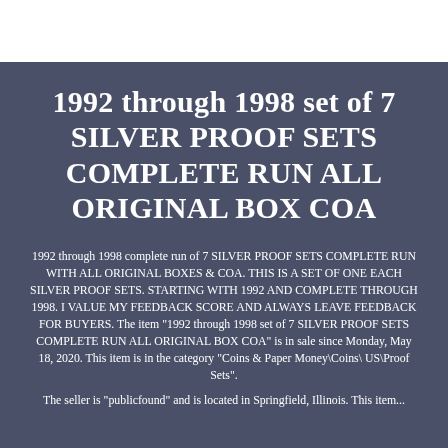1992 through 1998 set of 7 SILVER PROOF SETS COMPLETE RUN ALL ORIGINAL BOX COA
1992 through 1998 complete run of 7 SILVER PROOF SETS COMPLETE RUN WITH ALL ORIGINAL BOXES & COA. THIS IS A SET OF ONE EACH SILVER PROOF SETS. STARTING WITH 1992 AND COMPLETE THROUGH 1998. I VALUE MY FEEDBACK SCORE AND ALWAYS LEAVE FEEDBACK FOR BUYERS. The item "1992 through 1998 set of 7 SILVER PROOF SETS COMPLETE RUN ALL ORIGINAL BOX COA" is in sale since Monday, May 18, 2020. This item is in the category "Coins & Paper Money\Coins\ US\Proof Sets".
The seller is "publicfound" and is located in Springfield, Illinois. This item...